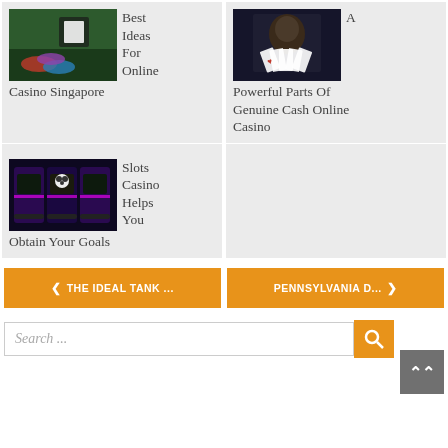[Figure (photo): Hands dealing casino chips and cards on a green felt table]
Best Ideas For Online Casino Singapore
[Figure (photo): Man in suit holding playing cards in a dark setting]
A Powerful Parts Of Genuine Cash Online Casino
[Figure (photo): Row of slot machines with panda theme in a dark casino]
Slots Casino Helps You Obtain Your Goals
< THE IDEAL TANK ...
PENNSYLVANIA D... >
Search ...